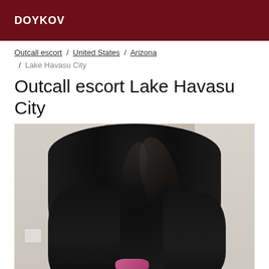DOYKOV
Outcall escort / United States / Arizona / Lake Havasu City
Outcall escort Lake Havasu City
[Figure (photo): Photo showing the back of a person with long straight black hair, wearing something with a pink accessory visible at the bottom. The background shows a light-colored room wall with a light switch on the left.]